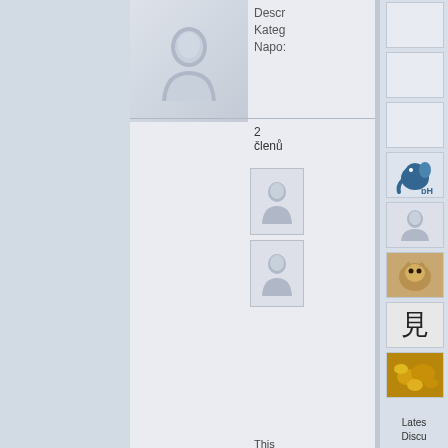[Figure (illustration): User avatar silhouette placeholder (large), group 1]
Descr
Kateg
Napo:
2
členů
[Figure (illustration): Small user avatar placeholder 1]
[Figure (illustration): Small user avatar placeholder 2]
This group doesn't have any discu yet.
[Figure (illustration): Overclocking group image with Slovak flag and OVERCLOCKING text]
over
Tak kolko nas tu vlastnje zo Slove Kateg
[Figure (illustration): Sidebar thumbnail 1 - blank/light]
[Figure (illustration): Sidebar thumbnail 2 - blank/light]
[Figure (illustration): Sidebar thumbnail 3 - blank/light]
[Figure (illustration): Sidebar thumbnail 4 - PostgreSQL elephant logo]
[Figure (illustration): Sidebar thumbnail 5 - user avatar]
[Figure (photo): Sidebar thumbnail 6 - cat/animal photo]
[Figure (illustration): Sidebar thumbnail 7 - Japanese character 見]
[Figure (photo): Sidebar thumbnail 8 - gold/nuggets photo]
Lates
Discu